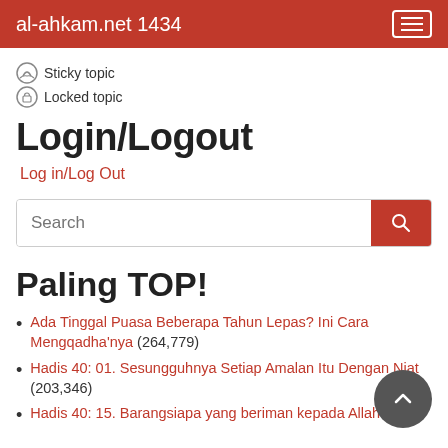al-ahkam.net 1434
Sticky topic
Locked topic
Login/Logout
Log in/Log Out
Paling TOP!
Ada Tinggal Puasa Beberapa Tahun Lepas? Ini Cara Mengqadha'nya (264,779)
Hadis 40: 01. Sesungguhnya Setiap Amalan Itu Dengan Niat (203,346)
Hadis 40: 15. Barangsiapa yang beriman kepada Allah dan